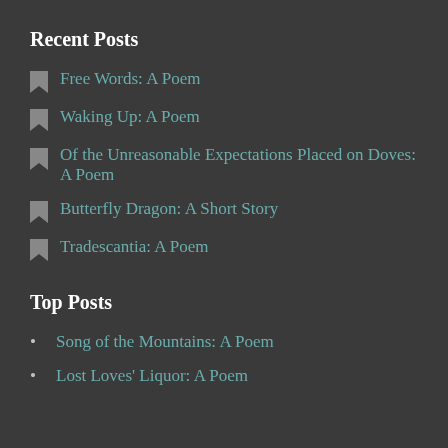Recent Posts
Free Words: A Poem
Waking Up: A Poem
Of the Unreasonable Expectations Placed on Doves: A Poem
Butterfly Dragon: A Short Story
Tradescantia: A Poem
Top Posts
Song of the Mountains: A Poem
Lost Loves' Liquor: A Poem